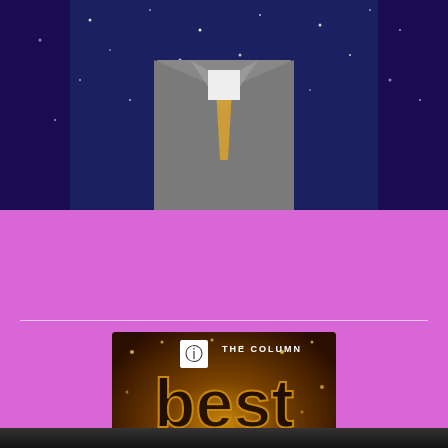[Figure (photo): Man in gray suit with yellow tie, photographed from shoulders down, against a dark sparkly blue backdrop with curtains]
SUBSCRIBE to The Column Newsletter
[Figure (logo): The Column - Best in DFW theatre 2018 award badge with gold sparkle background, rainbow colored 2018 text]